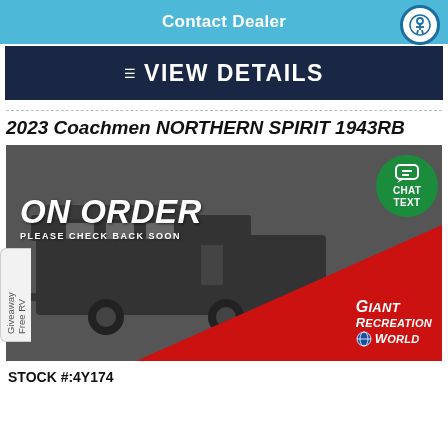Contact Dealer
VIEW DETAILS
2023 Coachmen NORTHERN SPIRIT 1943RB
[Figure (photo): RV product listing image showing an ON ORDER overlay with text 'PLEASE CHECK BACK SOON', a chat/text button, and Giant Recreation World logo on a red and dark gray background with an RV silhouette]
STOCK #:4Y174